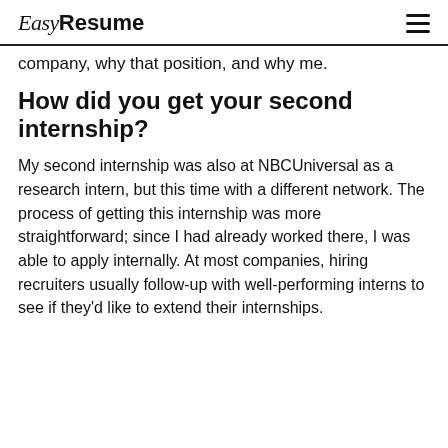Easy Resume
company, why that position, and why me.
How did you get your second internship?
My second internship was also at NBCUniversal as a research intern, but this time with a different network. The process of getting this internship was more straightforward; since I had already worked there, I was able to apply internally. At most companies, hiring recruiters usually follow-up with well-performing interns to see if they'd like to extend their internships.